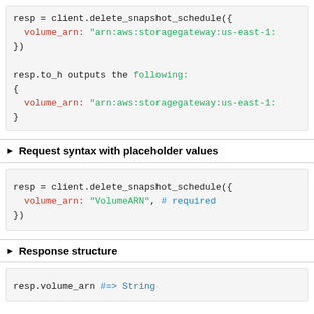resp = client.delete_snapshot_schedule({
  volume_arn: "arn:aws:storagegateway:us-east-1:"
})

resp.to_h outputs the following:
{
  volume_arn: "arn:aws:storagegateway:us-east-1:"
}
► Request syntax with placeholder values
resp = client.delete_snapshot_schedule({
  volume_arn: "VolumeARN", # required
})
► Response structure
resp.volume_arn #=> String
Parameters: